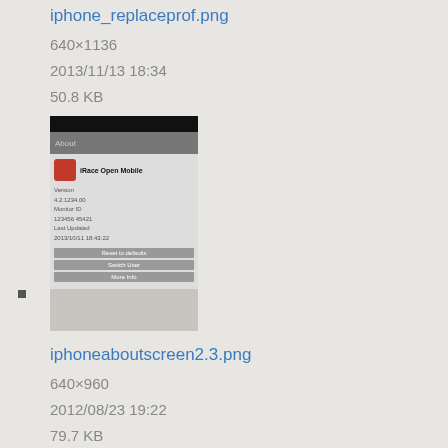iphone_replaceprof.png
640×1136
2013/11/13 18:34
50.8 KB
[Figure (screenshot): Thumbnail of iphone_replaceprof.png showing a mobile app About screen]
iphoneaboutscreen2.3.png
640×960
2012/08/23 19:22
79.7 KB
[Figure (screenshot): Thumbnail of iphoneaboutscreen2.3.png showing a mobile app screen with dark background]
iphonedashboard.png
637×999
2014/03/12 20:22
63.7 KB